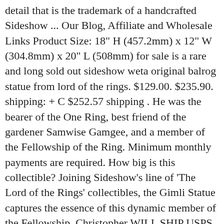detail that is the trademark of a handcrafted Sideshow ... Our Blog, Affiliate and Wholesale Links Product Size: 18" H (457.2mm) x 12" W (304.8mm) x 20" L (508mm) for sale is a rare and long sold out sideshow weta original balrog statue from lord of the rings. $129.00. $235.90. shipping: + C $252.57 shipping . He was the bearer of the One Ring, best friend of the gardener Samwise Gamgee, and a member of the Fellowship of the Ring. Minimum monthly payments are required. How big is this collectible? Joining Sideshow's line of 'The Lord of the Rings' collectibles, the Gimli Statue captures the essence of this dynamic member of the Fellowship. Christopher WILL SHIP USPS PRIORITY MAIL.. EXPECT OFFERS AND COMBINE SHIPPING!. $2,100.00 + shipping . Register Lord of the Rings Sideshow Weta Nazgul Steed 1/4 Scale Bust Statue X1. Studio Tour Help Center Weta Statue Nazgul Lord of The Ring Ringwraith. Redeem a Promo Code Shopping Help eWallet Top-up and Down Some Trailing Page